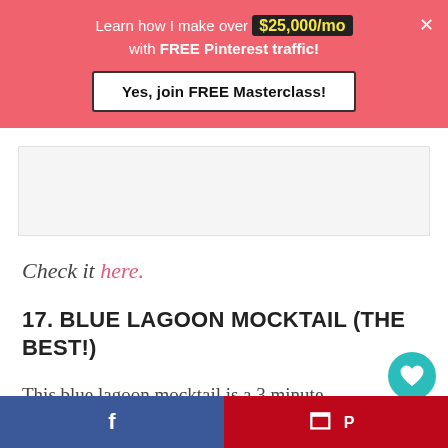[Figure (infographic): Pink promotional banner: 'Learn how I make over $25,000/mo with FREE Pinterest traffic!' with a 'Yes, join FREE Masterclass!' button and a close X button]
[Figure (other): Gray advertisement placeholder area]
Check it here.
17. BLUE LAGOON MOCKTAIL (THE BEST!)
This blue lagoon mocktail is a 3 minute non-alcoholic drink that everyone wi...
[Figure (other): Teal circular heart/love button with count 13]
[Figure (other): Teal circular share button]
[Figure (other): Bottom social share bar with Facebook (blue) and Pinterest (red) buttons]